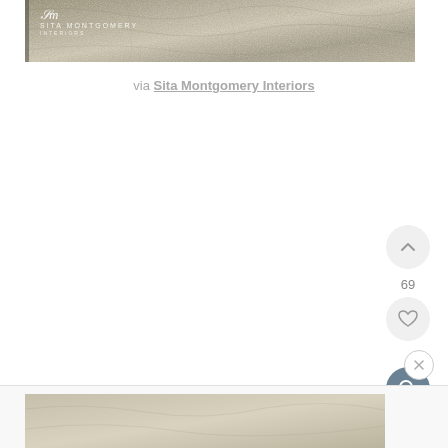[Figure (photo): A rug with marble-like texture pattern in beige and grey tones, with Sita Montgomery Interiors logo watermark in top-left corner]
via Sita Montgomery Interiors
[Figure (screenshot): UI interaction buttons: upvote chevron button, number 69, heart/like button, and search/magnify button (dark blue-grey circular buttons on right side)]
[Figure (screenshot): Bottom section with close (X) button and partial preview of another rug image at the bottom of the page]